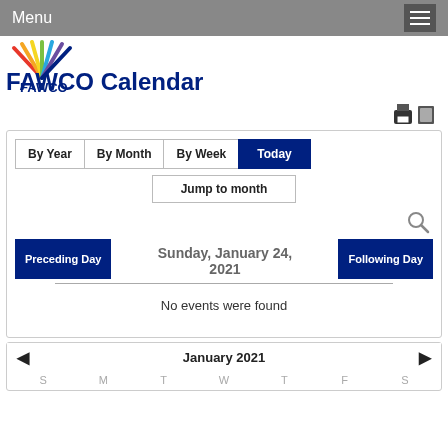Menu
[Figure (logo): FAWCO colorful fan logo with FAWCO text]
FAWCO Calendar
By Year | By Month | By Week | Today
Jump to month
Preceding Day   Sunday, January 24, 2021   Following Day
No events were found
January 2021
S  M  T  W  T  F  S